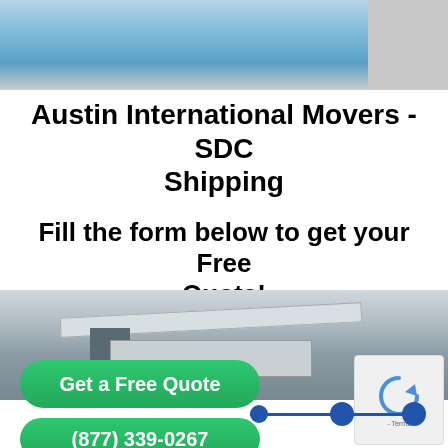[Figure (photo): Top banner photo showing snowy mountain landscape with blue sky, and a grey panel on the right side]
Austin International Movers - SDC Shipping
Fill the form below to get your Free Quote!
[Figure (photo): Photo of a shipping crane arm and container port equipment]
(877) 339-0267
Get a Free Quote